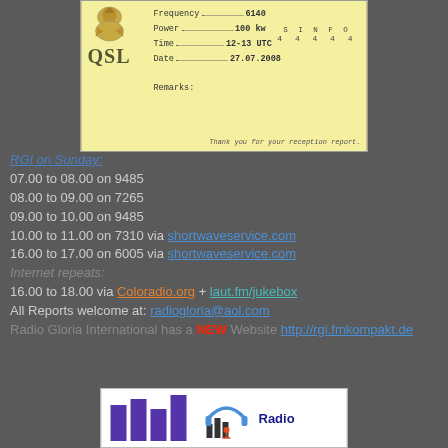[Figure (photo): QSL card with yellow background showing Radio Gloria International logo and eagle emblem, with fields: Frequency 6140, Power 100 kw, Time 12-13 UTC, Date 27.07.2008, SINPO 44444, Remarks, and thank you message]
RGI on Sunday:
07.00 to 08.00 on 9485
08.00 to 09.00 on 7265
09.00 to 10.00 on 9485
10.00 to 11.00 on 7310  via shortwaveservice.com
16.00 to 17.00 on 6005  via shortwaveservice.com
Internet repeats:
16.00 to 18.00 via  Coloradio.org + laut.fm/jukebox
All Reports welcome at:  radiogloria@aol.com
Radio Gloria International has a NEW Website http://rgi.fmkompakt.de
[Figure (logo): Radio logo with purple bar chart columns on left and headphone/city icon with 'Radio' text on right, white background]